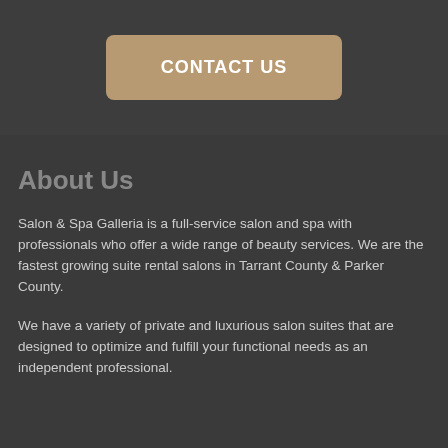[Figure (other): A tan/khaki colored rounded rectangle button with white bold text reading CONTACT US, on a dark gray background.]
About Us
Salon & Spa Galleria is a full-service salon and spa with professionals who offer a wide range of beauty services. We are the fastest growing suite rental salons in Tarrant County & Parker County.
We have a variety of private and luxurious salon suites that are designed to optimize and fulfill your functional needs as an independent professional.